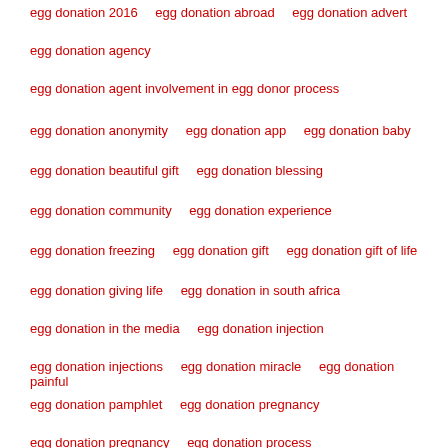egg donation 2016   egg donation abroad   egg donation advert
egg donation agency
egg donation agent involvement in egg donor process
egg donation anonymity   egg donation app   egg donation baby
egg donation beautiful gift   egg donation blessing
egg donation community   egg donation experience
egg donation freezing   egg donation gift   egg donation gift of life
egg donation giving life   egg donation in south africa
egg donation in the media   egg donation injection
egg donation injections   egg donation miracle   egg donation painful
egg donation pamphlet   egg donation pregnancy
egg donation pregnancy   egg donation process
egg donation process   egg donation recipient
egg donation recipient   egg donation recipient age cut off